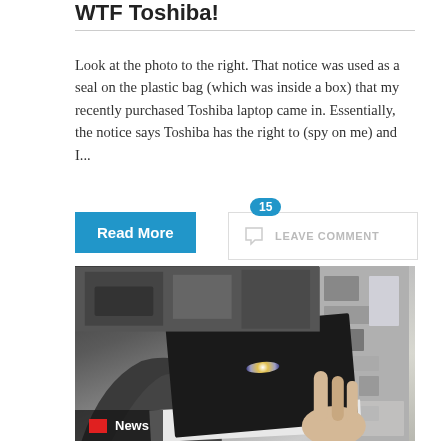WTF Toshiba!
Look at the photo to the right. That notice was used as a seal on the plastic bag (which was inside a box) that my recently purchased Toshiba laptop came in. Essentially, the notice says Toshiba has the right to (spy on me) and I...
Read More
15 LEAVE COMMENT
[Figure (photo): A person holding a dark-colored book/laptop with a circular logo sticker on top, with papers and electronic equipment visible in the background. A 'News' tag with a red square is visible in the lower left corner.]